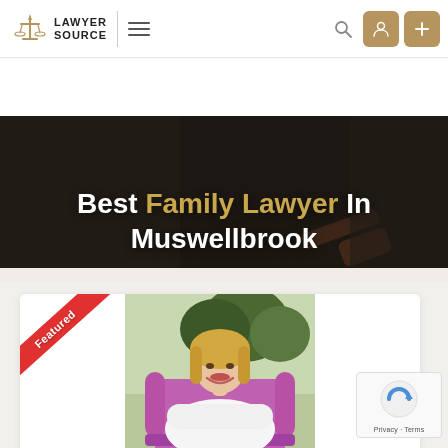[Figure (logo): Lawyer Source logo with scales of justice icon and text LAWYER SOURCE]
Best Family Lawyer In Muswellbrook
[Figure (photo): Featured card with a photo of a smiling blonde woman in a white blouse seated in a magenta velvet chair outdoors with trees in background. Red 'Featured' ribbon in top-left corner of card.]
[Figure (other): Google reCAPTCHA badge with Privacy and Terms links]